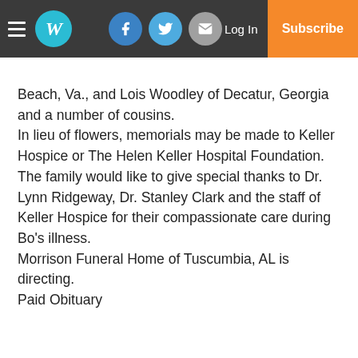W [navigation bar with hamburger menu, W logo, Facebook, Twitter, Email icons, Log In, Subscribe]
Beach, Va., and Lois Woodley of Decatur, Georgia and a number of cousins.
In lieu of flowers, memorials may be made to Keller Hospice or The Helen Keller Hospital Foundation.
The family would like to give special thanks to Dr. Lynn Ridgeway, Dr. Stanley Clark and the staff of Keller Hospice for their compassionate care during Bo’s illness.
Morrison Funeral Home of Tuscumbia, AL is directing.
Paid Obituary